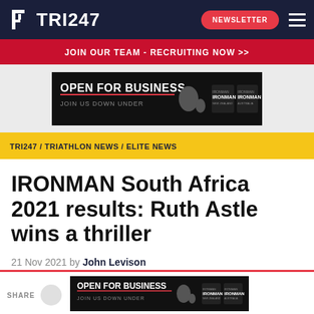TRI247
JOIN OUR TEAM - RECRUITING NOW >>
[Figure (other): Open For Business - Join Us Down Under advertisement with IRONMAN New Zealand and IRONMAN logos]
TRI247 / TRIATHLON NEWS / ELITE NEWS
IRONMAN South Africa 2021 results: Ruth Astle wins a thriller
21 Nov 2021 by John Levison
[Figure (other): Open For Business - Join Us Down Under advertisement with IRONMAN New Zealand and IRONMAN logos (bottom)]